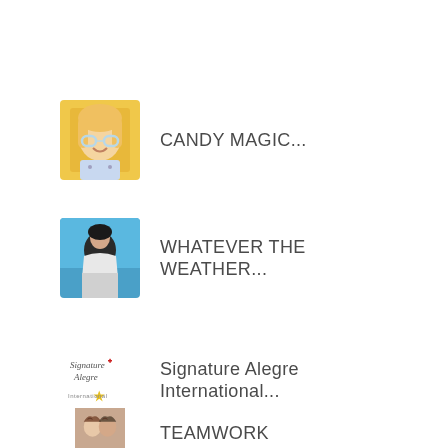[Figure (photo): Thumbnail of a smiling girl with heart-shaped glasses on a yellow background]
CANDY MAGIC...
[Figure (photo): Thumbnail of a person outdoors against a blue sky background]
WHATEVER THE WEATHER...
[Figure (logo): Signature Alegre International logo with script text and star]
Signature Alegre International...
[Figure (photo): Thumbnail showing two people with braided hair]
TEAMWORK